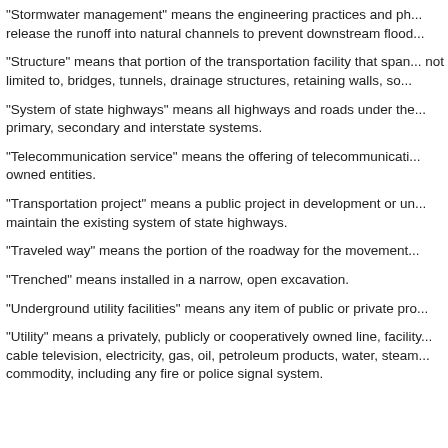"Stormwater management" means the engineering practices and ph... release the runoff into natural channels to prevent downstream flood...
"Structure" means that portion of the transportation facility that span... not limited to, bridges, tunnels, drainage structures, retaining walls, so...
"System of state highways" means all highways and roads under the... primary, secondary and interstate systems.
"Telecommunication service" means the offering of telecommunicati... owned entities.
"Transportation project" means a public project in development or un... maintain the existing system of state highways.
"Traveled way" means the portion of the roadway for the movement...
"Trenched" means installed in a narrow, open excavation.
"Underground utility facilities" means any item of public or private pro...
"Utility" means a privately, publicly or cooperatively owned line, facility... cable television, electricity, gas, oil, petroleum products, water, steam... commodity, including any fire or police signal system.